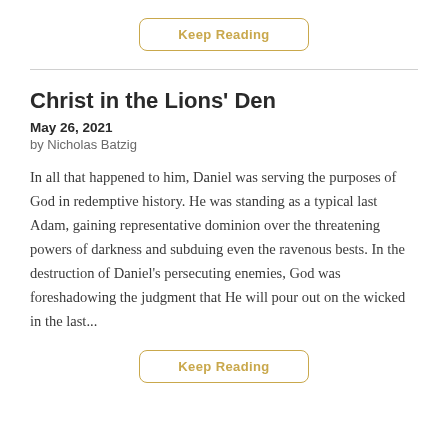Keep Reading
Christ in the Lions' Den
May 26, 2021
by Nicholas Batzig
In all that happened to him, Daniel was serving the purposes of God in redemptive history. He was standing as a typical last Adam, gaining representative dominion over the threatening powers of darkness and subduing even the ravenous bests. In the destruction of Daniel's persecuting enemies, God was foreshadowing the judgment that He will pour out on the wicked in the last...
Keep Reading